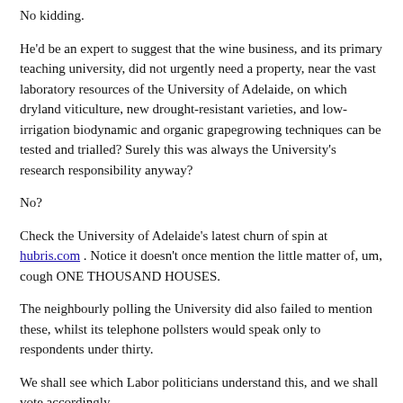No kidding.
He'd be an expert to suggest that the wine business, and its primary teaching university, did not urgently need a property, near the vast laboratory resources of the University of Adelaide, on which dryland viticulture, new drought-resistant varieties, and low-irrigation biodynamic and organic grapegrowing techniques can be tested and trialled? Surely this was always the University's research responsibility anyway?
No?
Check the University of Adelaide's latest churn of spin at hubris.com . Notice it doesn't once mention the little matter of, um, cough ONE THOUSAND HOUSES.
The neighbourly polling the University did also failed to mention these, whilst its telephone pollsters would speak only to respondents under thirty.
We shall see which Labor politicians understand this, and we shall vote accordingly.
The member whose seat covers Glenthorne, Kris Hanna, is already a popular